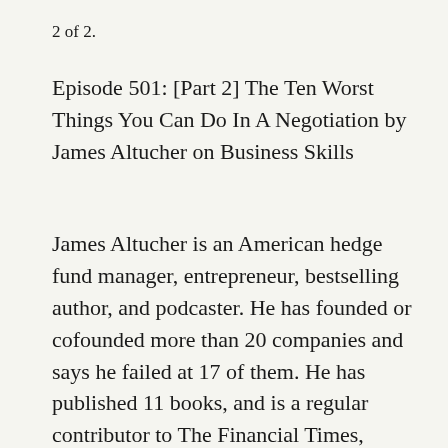2 of 2.
Episode 501: [Part 2] The Ten Worst Things You Can Do In A Negotiation by James Altucher on Business Skills
James Altucher is an American hedge fund manager, entrepreneur, bestselling author, and podcaster. He has founded or cofounded more than 20 companies and says he failed at 17 of them. He has published 11 books, and is a regular contributor to The Financial Times,